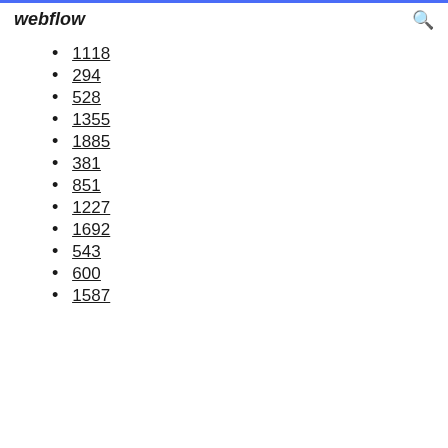webflow
1118
294
528
1355
1885
381
851
1227
1692
543
600
1587